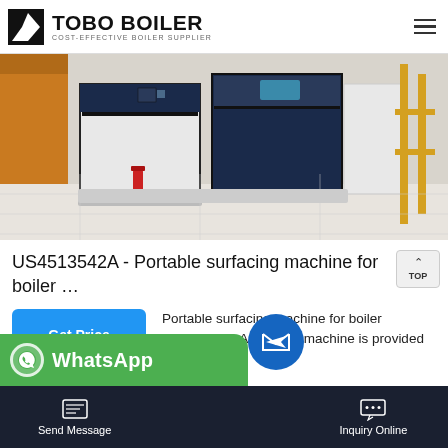TOBO BOILER COST-EFFECTIVE BOILER SUPPLIER
[Figure (photo): Industrial boilers installed in a room with white tile floor, navy blue and white cabinet-style boiler units, yellow metal scaffolding on the right, red fire extinguisher on the left, orange door in background.]
US4513542A - Portable surfacing machine for boiler …
Portable surfacing machine for boiler manhole - s. A portable machine is provided for in-place grinding of an inside ellipti face of …